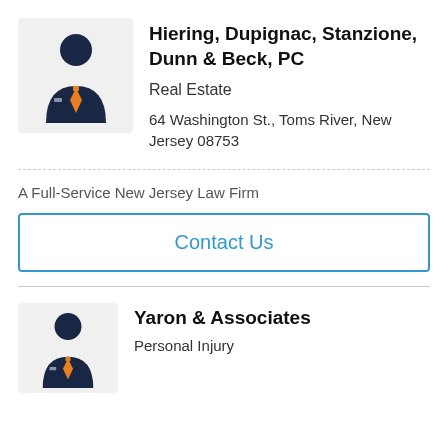[Figure (illustration): Generic lawyer/professional avatar icon: dark navy suit with orange tie on gray background square]
Hiering, Dupignac, Stanzione, Dunn & Beck, PC
Real Estate
64 Washington St., Toms River, New Jersey 08753
A Full-Service New Jersey Law Firm
Contact Us
[Figure (illustration): Generic lawyer/professional avatar icon: dark navy suit with orange tie on gray background square]
Yaron & Associates
Personal Injury